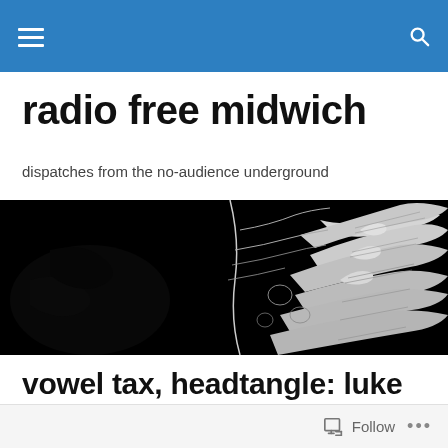radio free midwich — navigation bar with hamburger menu and search icon
radio free midwich
dispatches from the no-audience underground
[Figure (illustration): Black and white decorative banner image showing intricate abstract botanical/floral line art on a black background, with white wispy organic forms resembling plants or feathers on the right side.]
vowel tax, headtangle: luke vollar on ali robertson and dylan nyoukis
Follow  •••